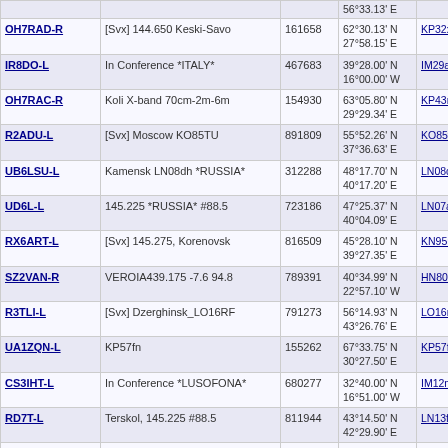| Callsign | Description | Node | Coordinates | Grid |
| --- | --- | --- | --- | --- |
| OH7RAD-R | [Svx] 144.650 Keski-Savo | 161658 | 62°30.13' N 27°58.15' E | KP32x |
| IR8DO-L | In Conference *ITALY* | 467683 | 39°28.00' N 16°00.00' W | IM29a |
| OH7RAC-R | Koli X-band 70cm-2m-6m | 154930 | 63°05.80' N 29°29.34' E | KP43n |
| R2ADU-L | [Svx] Moscow KO85TU | 891809 | 55°52.26' N 37°36.63' E | KO85t |
| UB6LSU-L | Kamensk LN08dh *RUSSIA* | 312288 | 48°17.70' N 40°17.20' E | LN08d |
| UD6L-L | 145.225 *RUSSIA* #88.5 | 723186 | 47°25.37' N 40°04.09' E | LN07a |
| RX6ART-L | [Svx] 145.275, Korenovsk | 816509 | 45°28.10' N 39°27.35' E | KN95n |
| SZ2VAN-R | VEROIA439.175 -7.6 94.8 | 789391 | 40°34.99' N 22°57.10' W | HN80n |
| R3TLI-L | [Svx] Dzerghinsk_LO16RF | 791273 | 56°14.93' N 43°26.76' E | LO16n |
| UA1ZQN-L | KP57fn | 155262 | 67°33.75' N 30°27.50' E | KP57f |
| CS3IHT-L | In Conference *LUSOFONA* | 680277 | 32°40.00' N 16°51.00' W | IM12n |
| RD7T-L | Terskol, 145.225 #88.5 | 811944 | 43°14.50' N 42°29.90' E | LN13f |
| KD9HDD-L | mobile [0/20] | 646197 | 42°00.00' N 42°00.00' E | LN12a |